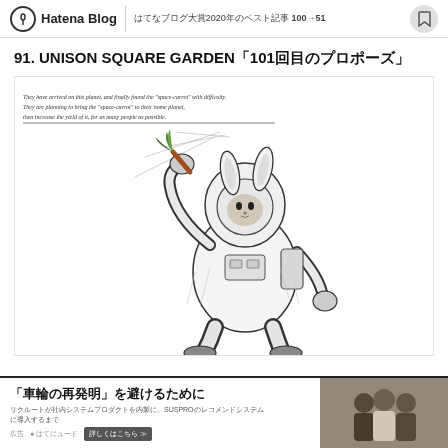Hatena Blog | はてなブログ大賞2020年のベスト記事 100→51
91. UNISON SQUARE GARDEN「101回目のプロポーズ」
[Figure (illustration): Black and white pen illustration of a rabbit-headed character in a spacesuit holding a carrot, with handwritten English text at top left. The text reads: 'They have arrived on this planet, and finally found the space-carrot with difficulty. They are planning to bring the space-carrot to their home planet, then increase the yield of it, for as many people as possible.']
「車輪の再発明」を避けるために
リクルートが社内システムプロダクトを内製に。SUSPROのレコメンドシステムに導入するまで
詳しくはこちら >>